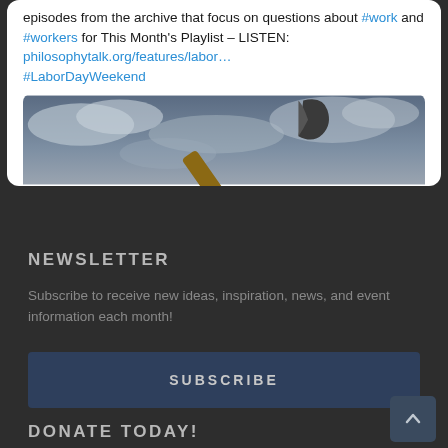episodes from the archive that focus on questions about #work and #workers for This Month's Playlist – LISTEN: philosophytalk.org/features/labor… #LaborDayWeekend
[Figure (photo): Photo of an axe handle held diagonally against a dramatic cloudy sky background]
NEWSLETTER
Subscribe to receive new ideas, inspiration, news, and event information each month!
SUBSCRIBE
DONATE TODAY!